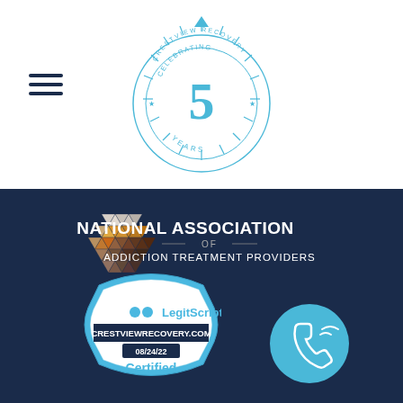[Figure (logo): Crestview Recovery celebrating 5 years logo — circular badge with sunburst, large '5' in center, text 'CRESTVIEW RECOVERY' at top, 'CELEBRATING' and 'YEARS' arcing around the circle, all in light blue]
[Figure (logo): Hamburger menu icon — three horizontal dark navy lines]
[Figure (logo): National Association of Addiction Treatment Providers logo — geometric hexagon made of colored triangles (white, orange, brown tones) on left, text 'NATIONAL ASSOCIATION OF ADDICTION TREATMENT PROVIDERS' in white on dark navy background]
[Figure (logo): LegitScript certified badge — octagon shape in light blue/white, LegitScript logo at top, 'CRESTVIEWRECOVERY.COM', date '08/24/22', and 'Certified' text]
[Figure (logo): Phone icon in teal/cyan circle — stylized telephone handset with signal waves]